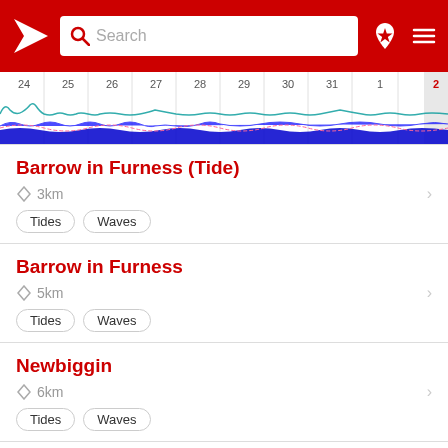Search
[Figure (continuous-plot): Tidal chart strip showing dates 24–2 with blue wave pattern along the bottom]
Barrow in Furness (Tide)
3km
Tides
Waves
Barrow in Furness
5km
Tides
Waves
Newbiggin
6km
Tides
Waves
Barrow/Walney Island Airport
8km / Weather station / Airport